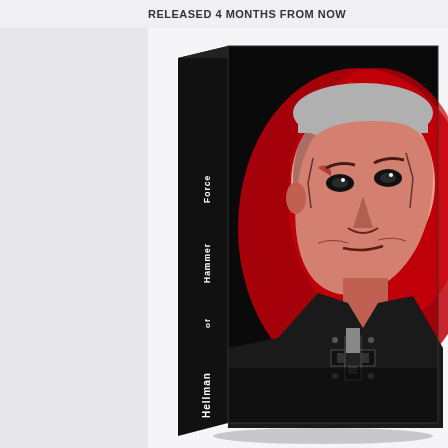RELEASED 4 MONTHS FROM NOW
[Figure (illustration): Book cover of 'Hellman of Hammer Force' displayed at an angle showing both the spine and front cover. The cover features a dramatic black and red graphic illustration of a stern-looking older military man wearing a German Iron Cross medal. The spine reads 'Hellman of Hammer Force' in white text on a black background. The front cover shows the same military figure in a red and black high-contrast comic art style.]